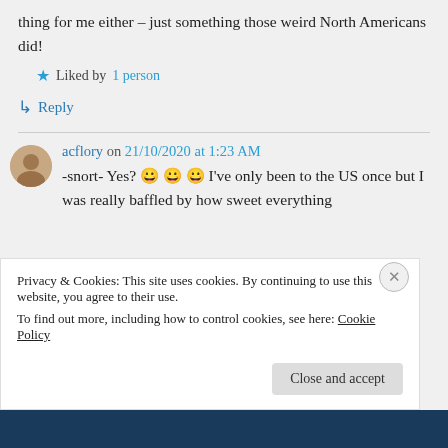thing for me either – just something those weird North Americans did!
★ Liked by 1 person
↳ Reply
acflory on 21/10/2020 at 1:23 AM
-snort- Yes? 😀 😀 😀 I've only been to the US once but I was really baffled by how sweet everything
Privacy & Cookies: This site uses cookies. By continuing to use this website, you agree to their use. To find out more, including how to control cookies, see here: Cookie Policy
Close and accept